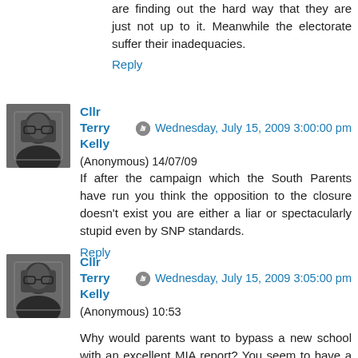are finding out the hard way that they are just not up to it. Meanwhile the electorate suffer their inadequacies.
Reply
Cllr Terry Kelly  Wednesday, July 15, 2009 3:00:00 pm
(Anonymous) 14/07/09
If after the campaign which the South Parents have run you think the opposition to the closure doesn’t exist you are either a liar or spectacularly stupid even by SNP standards.
Reply
Cllr Terry Kelly  Wednesday, July 15, 2009 3:05:00 pm
(Anonymous) 10:53
Why would parents want to bypass a new school with an excellent MIA report? You seem to have a rather simple view of this, there are 3 other schools in Renfrewshire where it costs more to educate a child, would you like to try to explain this instead of repeating the same mantra over